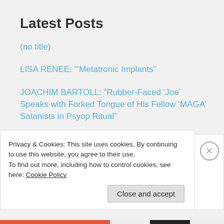Latest Posts
(no title)
LISA RENEE: “’Metatronic Implants”
JOACHIM BARTOLL: “Rubber-Faced ‘Joe’ Speaks with Forked Tongue of His Fellow ‘MAGA’ Satanists in Psyop Ritual”
LISA RENEE: “False Flag”
Privacy & Cookies: This site uses cookies. By continuing to use this website, you agree to their use.
To find out more, including how to control cookies, see here: Cookie Policy